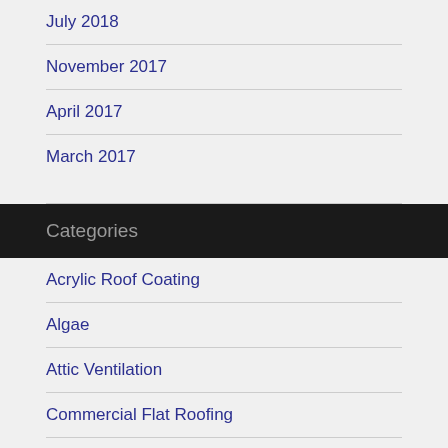July 2018
November 2017
April 2017
March 2017
Categories
Acrylic Roof Coating
Algae
Attic Ventilation
Commercial Flat Roofing
Commercial Roof Coating